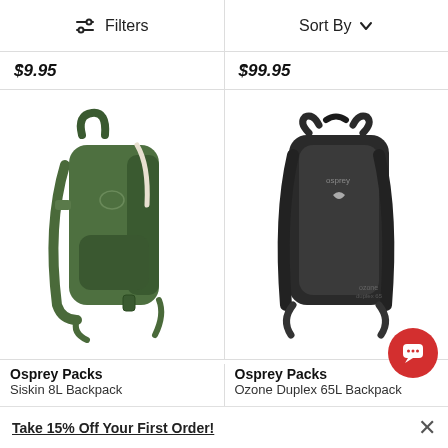Filters | Sort By
$9.95
$99.95
[Figure (photo): Green Osprey Packs Siskin 8L Backpack hydration pack]
[Figure (photo): Black Osprey Packs Ozone Duplex 65L Backpack]
Osprey Packs
Siskin 8L Backpack
Osprey Packs
Ozone Duplex 65L Backpack
Take 15% Off Your First Order!